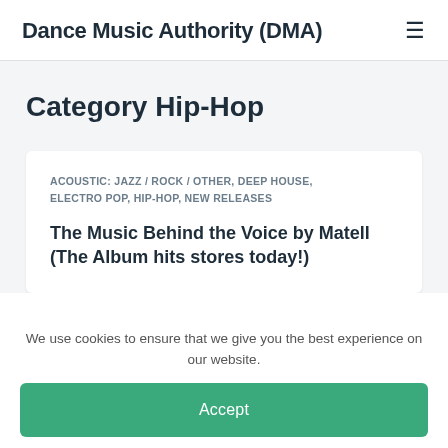Dance Music Authority (DMA)
Category Hip-Hop
ACOUSTIC: JAZZ / ROCK / OTHER, DEEP HOUSE, ELECTRO POP, HIP-HOP, NEW RELEASES
The Music Behind the Voice by Matell (The Album hits stores today!)
We use cookies to ensure that we give you the best experience on our website.
Accept